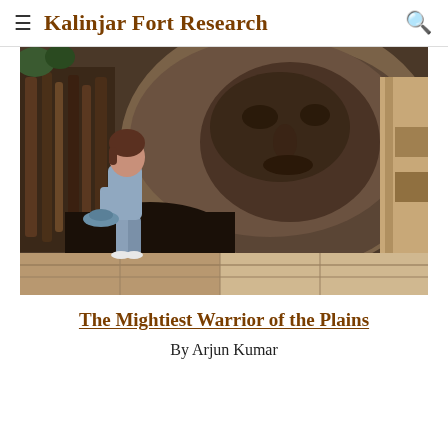≡ Kalinjar Fort Research 🔍
[Figure (photo): A person standing on stone steps at Kalinjar Fort, viewed from behind, holding a hat, facing large carved rock formations with ancient carvings. The scene shows dark stone walls with relief carvings and stone steps.]
The Mightiest Warrior of the Plains
By Arjun Kumar